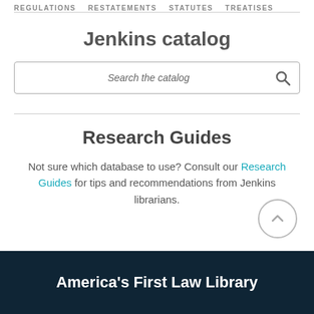REGULATIONS   RESTATEMENTS   STATUTES   TREATISES
Jenkins catalog
Search the catalog
Research Guides
Not sure which database to use? Consult our Research Guides for tips and recommendations from Jenkins librarians.
America's First Law Library